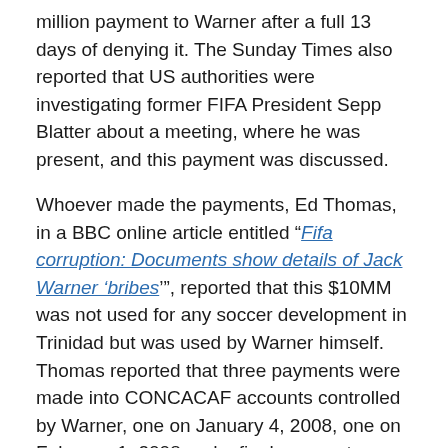million payment to Warner after a full 13 days of denying it. The Sunday Times also reported that US authorities were investigating former FIFA President Sepp Blatter about a meeting, where he was present, and this payment was discussed.
Whoever made the payments, Ed Thomas, in a BBC online article entitled “Fifa corruption: Documents show details of Jack Warner ‘bribes’”, reported that this $10MM was not used for any soccer development in Trinidad but was used by Warner himself. Thomas reported that three payments were made into CONCACAF accounts controlled by Warner, one on January 4, 2008, one on February 1, 2008 and a final payment on March 10, 2008; all adding up to $10MM. Thomas also reviewed documents to show how the money was either laundered and then paid back to Warner or simply used to pay